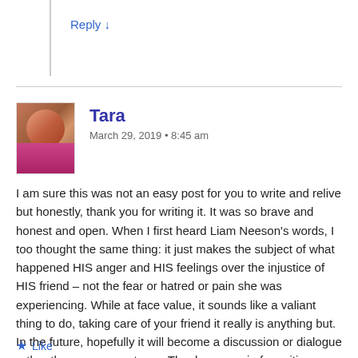Reply ↓
Tara
March 29, 2019 • 8:45 am
I am sure this was not an easy post for you to write and relive but honestly, thank you for writing it. It was so brave and honest and open. When I first heard Liam Neeson's words, I too thought the same thing: it just makes the subject of what happened HIS anger and HIS feelings over the injustice of HIS friend – not the fear or hatred or pain she was experiencing. While at face value, it sounds like a valiant thing to do, taking care of your friend it really is anything but. In the future, hopefully it will become a discussion or dialogue rather than a revenge trope. Thank you again for writing on this. I hope you were able to find some peace and comfort in writing out your feelings on this subject and wish you lots of self-compassion and peace.
Like